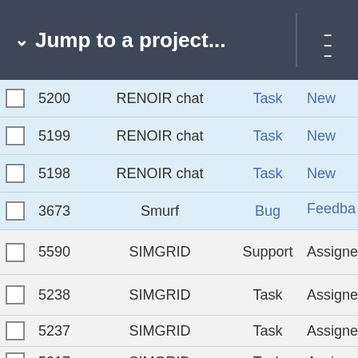Jump to a project...
|  | # | Project | Type | Status |
| --- | --- | --- | --- | --- |
| ☐ | 5200 | RENOIR chat | Task | New |
| ☐ | 5199 | RENOIR chat | Task | New |
| ☐ | 5198 | RENOIR chat | Task | New |
| ☐ | 3673 | Smurf | Bug | Feedba... |
| ☐ | 5590 | SIMGRID | Support | Assigne... |
| ☐ | 5238 | SIMGRID | Task | Assigne... |
| ☐ | 5237 | SIMGRID | Task | Assigne... |
| ☐ | 5217 | SIMGRID | Task | Assigne... |
| ☐ | 5213 | SIMGRID | Task | Assigne... |
| ☐ | 5212 | SIMGRID | Task | Assigne... |
| ☐ | 5211 | SIMGRID | Task | Assigne... |
| ☐ | 5210 | SIMGRID | Task | Assigne... |